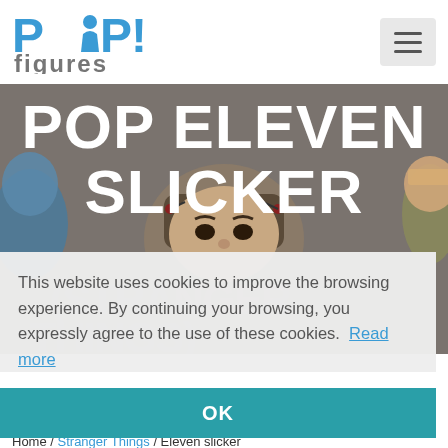[Figure (logo): POP! figures logo with blue text and person icon]
[Figure (screenshot): Hero banner with Funko Pop Eleven figure wearing helmet with electrodes, text overlaid reading POP ELEVEN SLICKER, watermark text STRANGER THINGS visible]
This website uses cookies to improve the browsing experience. By continuing your browsing, you expressly agree to the use of these cookies. Read more
OK
Home / Stranger Things / Eleven slicker